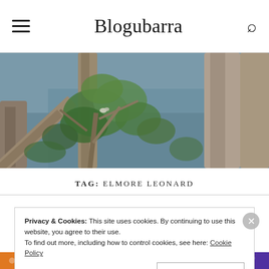Blogubarra
[Figure (photo): Outdoor nature photo showing tall eucalyptus tree trunks with green foliage and a grey-blue water or sky background, a bird visible among branches]
TAG: ELMORE LEONARD
Privacy & Cookies: This site uses cookies. By continuing to use this website, you agree to their use.
To find out more, including how to control cookies, see here: Cookie Policy
[Figure (photo): Colorful patterned strip at bottom of page, appears to be a decorative image with orange, yellow, blue and purple colors]